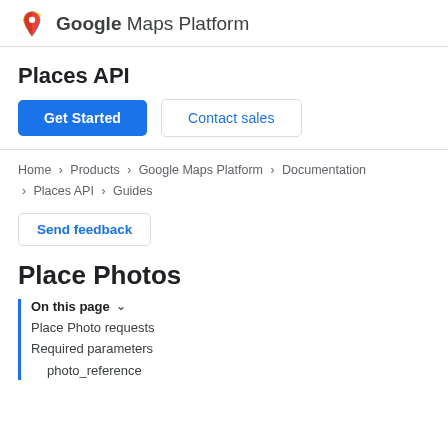Google Maps Platform
Places API
Get Started | Contact sales
Home > Products > Google Maps Platform > Documentation > Places API > Guides
Send feedback
Place Photos
On this page
Place Photo requests
Required parameters
photo_reference